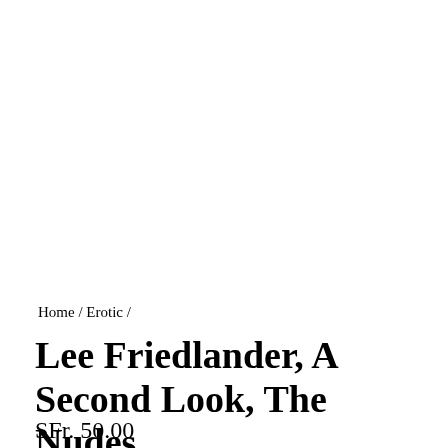Home / Erotic /
Lee Friedlander, A Second Look, The Nudes
SFr. 50.00